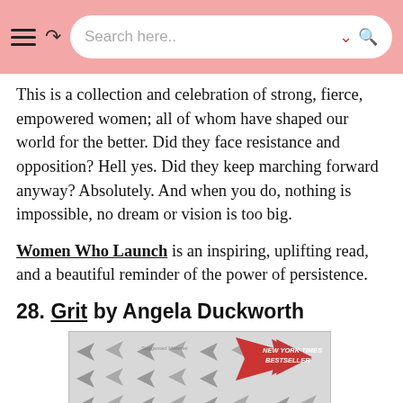Search here..
This is a collection and celebration of strong, fierce, empowered women; all of whom have shaped our world for the better. Did they face resistance and opposition? Hell yes. Did they keep marching forward anyway? Absolutely. And when you do, nothing is impossible, no dream or vision is too big.
Women Who Launch is an inspiring, uplifting read, and a beautiful reminder of the power of persistence.
28. Grit by Angela Duckworth
[Figure (photo): Book cover of Grit by Angela Duckworth showing gray arrows pointing left and one large red arrow pointing right with NEW YORK TIMES BESTSELLER badge]